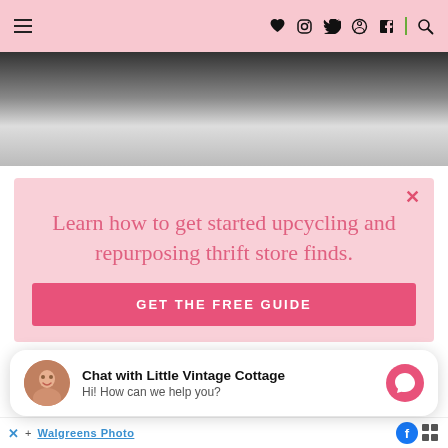navigation header with hamburger menu and social icons: heart, instagram, twitter, pinterest, facebook, search
[Figure (photo): Partial photo of a room interior, showing a dark wooden frame and light colored fabric/item against a bright background.]
[Figure (infographic): Pink modal popup with close X button and text: Learn how to get started upcycling and repurposing thrift store finds. GET THE FREE GUIDE button.]
Learn how to get started upcycling and repurposing thrift store finds.
[Figure (screenshot): Chat widget popup: avatar photo of a woman, text 'Chat with Little Vintage Cottage' and 'Hi! How can we help you?' with pink messenger button.]
X Walgreens Photo [facebook icon] [grid icon]